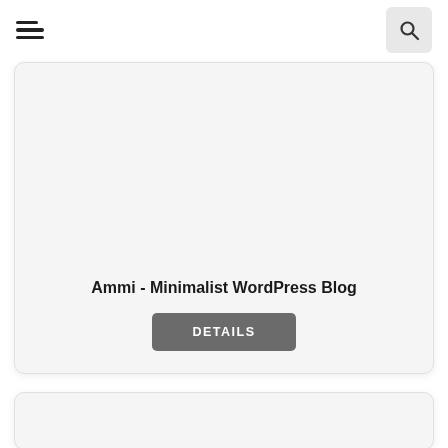Ammi - Minimalist WordPress Blog
DETAILS